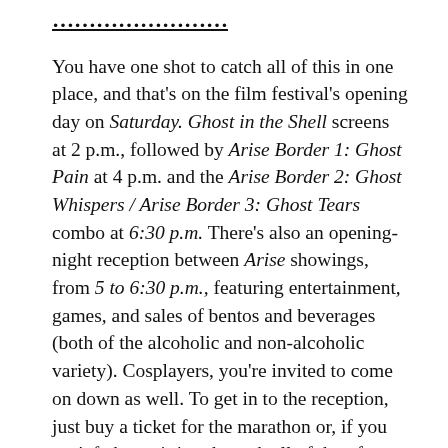……………………
You have one shot to catch all of this in one place, and that's on the film festival's opening day on Saturday. Ghost in the Shell screens at 2 p.m., followed by Arise Border 1: Ghost Pain at 4 p.m. and the Arise Border 2: Ghost Whispers / Arise Border 3: Ghost Tears combo at 6:30 p.m. There's also an opening-night reception between Arise showings, from 5 to 6:30 p.m., featuring entertainment, games, and sales of bentos and beverages (both of the alcoholic and non-alcoholic variety). Cosplayers, you're invited to come on down as well. To get in to the reception, just buy a ticket for the marathon or, if you can't fathom sitting through all of that, for either of the Arise